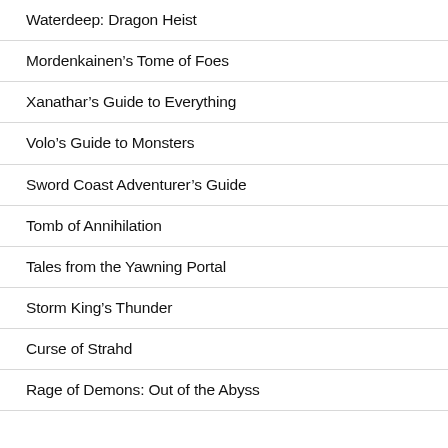Waterdeep: Dragon Heist
Mordenkainen’s Tome of Foes
Xanathar’s Guide to Everything
Volo’s Guide to Monsters
Sword Coast Adventurer’s Guide
Tomb of Annihilation
Tales from the Yawning Portal
Storm King’s Thunder
Curse of Strahd
Rage of Demons: Out of the Abyss